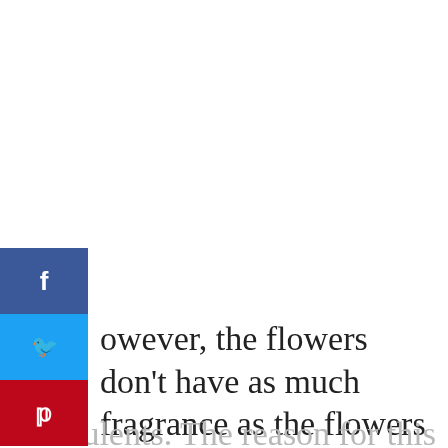[Figure (infographic): Social media sharing sidebar with Facebook (blue), Twitter (light blue), and Pinterest (red) buttons with icons]
owever, the flowers don't have as much fragrance as the flowers on the String of Pearls do. Moreover, you can expect the flowers to bloom during winter. as is the case with most succulents. The reason for this is the